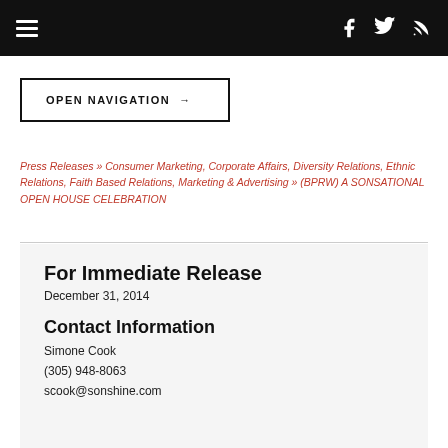Navigation bar with hamburger menu and social icons (Facebook, Twitter, RSS)
OPEN NAVIGATION →
Press Releases » Consumer Marketing, Corporate Affairs, Diversity Relations, Ethnic Relations, Faith Based Relations, Marketing & Advertising » (BPRW) A SONSATIONAL OPEN HOUSE CELEBRATION
For Immediate Release
December 31, 2014
Contact Information
Simone Cook
(305) 948-8063
scook@sonshine.com